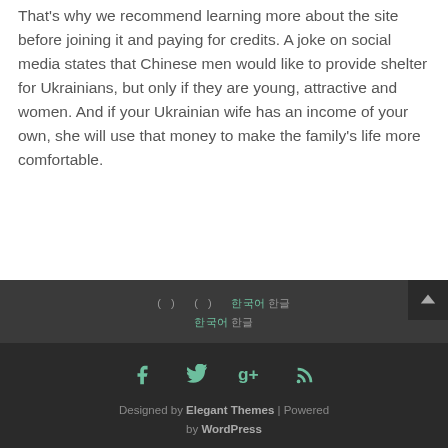That's why we recommend learning more about the site before joining it and paying for credits. A joke on social media states that Chinese men would like to provide shelter for Ukrainians, but only if they are young, attractive and women. And if your Ukrainian wife has an income of your own, she will use that money to make the family's life more comfortable.
( ) ( ) 한국어 ( )
Designed by Elegant Themes | Powered by WordPress